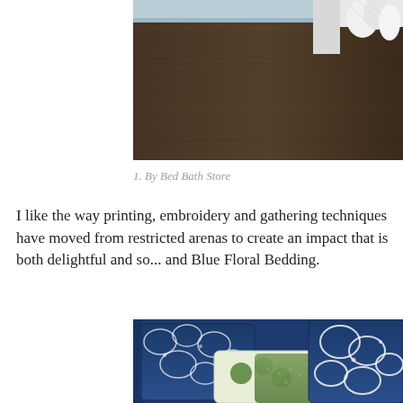[Figure (photo): Bedroom photo showing the underside of a light blue bed frame with white bedding on dark hardwood floor]
1. By Bed Bath Store
I like the way printing, embroidery and gathering techniques have moved from restricted arenas to create an impact that is both delightful and so... and Blue Floral Bedding.
[Figure (photo): Colorful floral bedding with navy blue, green, and white pillows arranged on a bed]